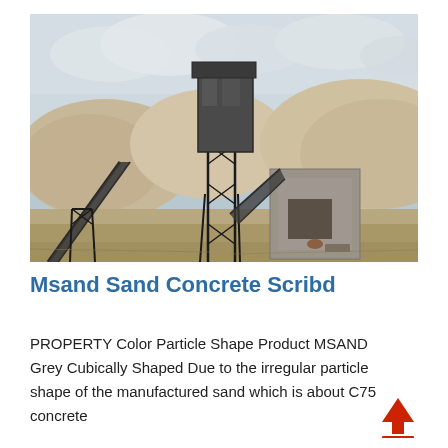[Figure (photo): Industrial sand manufacturing / quarrying facility with conveyor belts, a large metal processing tower structure, and piles of sand/rock material in a quarry setting under a cloudy sky.]
Msand Sand Concrete Scribd
PROPERTY Color Particle Shape Product MSAND Grey Cubically Shaped Due to the irregular particle shape of the manufactured sand which is about C75 concrete